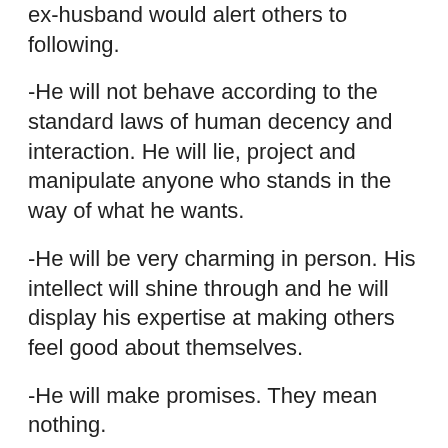ex-husband would alert others to following.
-He will not behave according to the standard laws of human decency and interaction. He will lie, project and manipulate anyone who stands in the way of what he wants.
-He will be very charming in person. His intellect will shine through and he will display his expertise at making others feel good about themselves.
-He will make promises. They mean nothing.
-He will concoct elaborate stories that shift the onus of the financial and relationship situation onto me. They will seem plausible. Because he’s good. Very good.